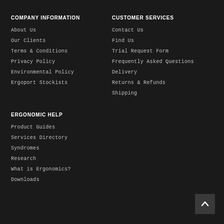COMPANY INFORMATION
About Us
Our Clients
Terms & Conditions
Privacy Policy
Environmental Policy
Ergoport Stockists
CUSTOMER SERVICES
Contact Us
Find Us
Trial Request Form
Frequently Asked Questions
Delivery
Returns & Refunds
Shipping
ERGONOMIC HELP
Product Guides
Services Directory
Syndromes
Research
What is Ergonomics?
Downloads